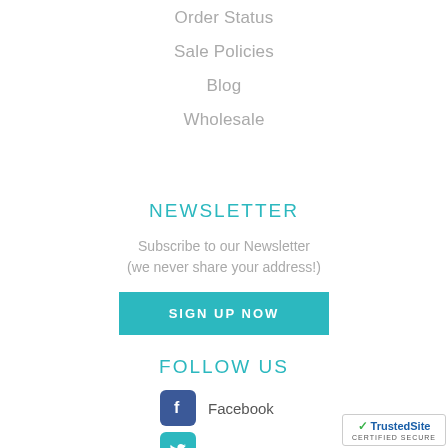Order Status
Sale Policies
Blog
Wholesale
NEWSLETTER
Subscribe to our Newsletter
(we never share your address!)
SIGN UP NOW
FOLLOW US
Facebook
[Figure (logo): TrustedSite CERTIFIED SECURE badge with green checkmark]
TrustedSite
CERTIFIED SECURE